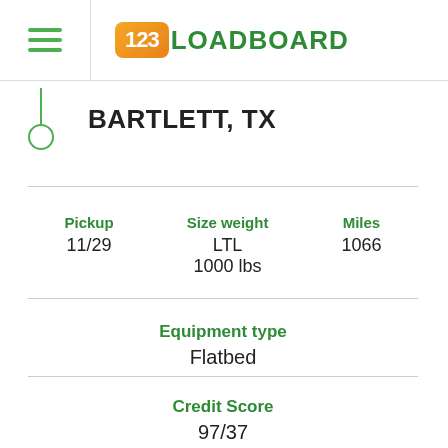[Figure (logo): 123Loadboard logo with orange box containing '123' and green text 'LOADBOARD']
BARTLETT, TX
Pickup
11/29
Size weight
LTL
1000 lbs
Miles
1066
Equipment type
Flatbed
Credit Score
97/37